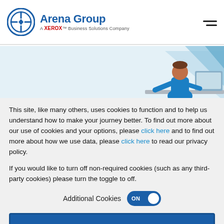Arena Group — A Xerox Business Solutions Company
[Figure (illustration): Hero illustration showing a person in blue sitting at a desk with geometric blue triangles in background]
This site, like many others, uses cookies to function and to help us understand how to make your journey better. To find out more about our use of cookies and your options, please click here and to find out more about how we use data, please click here to read our privacy policy.
If you would like to turn off non-required cookies (such as any third-party cookies) please turn the toggle to off.
Additional Cookies ON
Accept and close